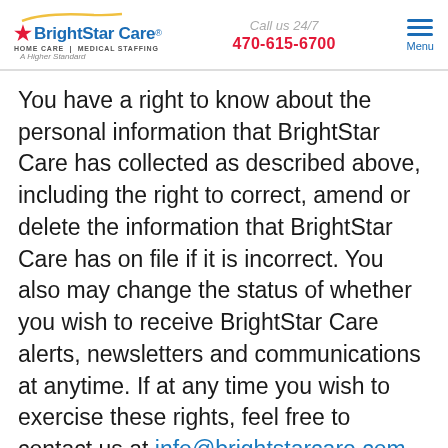BrightStar Care | HOME CARE | MEDICAL STAFFING | A Higher Standard | Call us 24/7 | 470-615-6700 | Menu
You have a right to know about the personal information that BrightStar Care has collected as described above, including the right to correct, amend or delete the information that BrightStar Care has on file if it is incorrect. You also may change the status of whether you wish to receive BrightStar Care alerts, newsletters and communications at anytime. If at any time you wish to exercise these rights, feel free to contact us at info@brightstarcare.com or by phone.